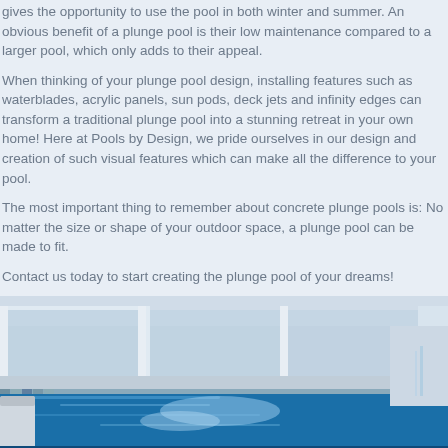gives the opportunity to use the pool in both winter and summer. An obvious benefit of a plunge pool is their low maintenance compared to a larger pool, which only adds to their appeal.
When thinking of your plunge pool design, installing features such as waterblades, acrylic panels, sun pods, deck jets and infinity edges can transform a traditional plunge pool into a stunning retreat in your own home! Here at Pools by Design, we pride ourselves in our design and creation of such visual features which can make all the difference to your pool.
The most important thing to remember about concrete plunge pools is: No matter the size or shape of your outdoor space, a plunge pool can be made to fit.
Contact us today to start creating the plunge pool of your dreams!
[Figure (photo): Outdoor plunge pool with blue water, mosaic tile edges, lounge chair on the left, and large glass sliding doors of a modern home in the background]